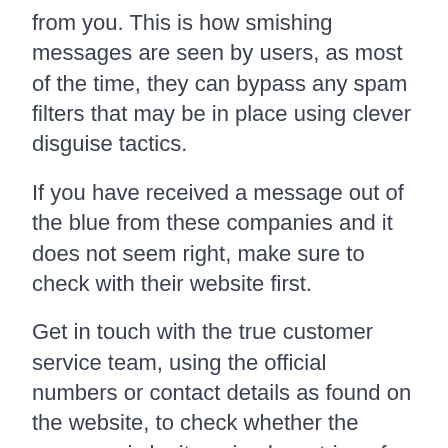from you. This is how smishing messages are seen by users, as most of the time, they can bypass any spam filters that may be in place using clever disguise tactics.
If you have received a message out of the blue from these companies and it does not seem right, make sure to check with their website first.
Get in touch with the true customer service team, using the official numbers or contact details as found on the website, to check whether the message is legit or simply a string of spam texts.
Contacting your bank directly is a way to check that the supposed sender is real, and